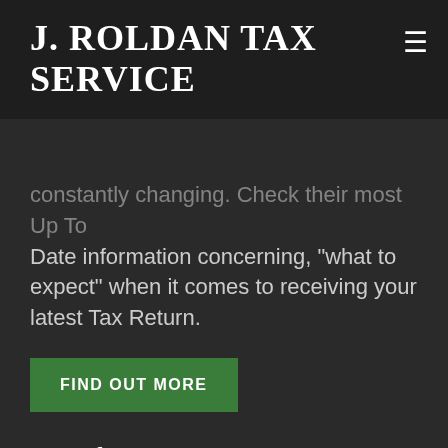J. ROLDAN TAX SERVICE
constantly changing. Check their most Up To Date information concerning, "what to expect" when it comes to receiving your latest Tax Return.
FIND OUT MORE
IRS Identity Protection Pin.
An Identity Protection PIN (IP PIN) is a six-digit number that prevents someone else from filing a tax return using your Social Security number or Individual Taxpayer Identification Number. If you